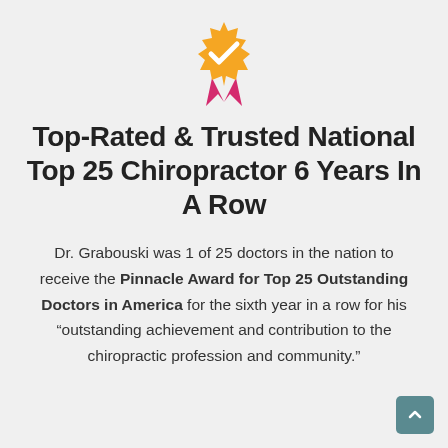[Figure (illustration): Gold award badge/medal with a white checkmark, with red/pink ribbon tails beneath it]
Top-Rated & Trusted National Top 25 Chiropractor 6 Years In A Row
Dr. Grabouski was 1 of 25 doctors in the nation to receive the Pinnacle Award for Top 25 Outstanding Doctors in America for the sixth year in a row for his “outstanding achievement and contribution to the chiropractic profession and community.”